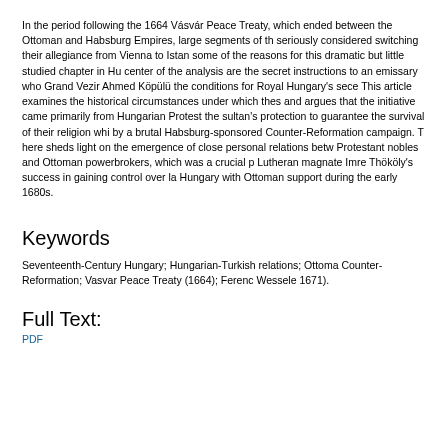In the period following the 1664 Vásvár Peace Treaty, which ended between the Ottoman and Habsburg Empires, large segments of th seriously considered switching their allegiance from Vienna to Istan some of the reasons for this dramatic but little studied chapter in Hu center of the analysis are the secret instructions to an emissary who Grand Vezir Ahmed Köpülü the conditions for Royal Hungary's sece This article examines the historical circumstances under which thes and argues that the initiative came primarily from Hungarian Protest the sultan's protection to guarantee the survival of their religion whi by a brutal Habsburg-sponsored Counter-Reformation campaign. T here sheds light on the emergence of close personal relations betw Protestant nobles and Ottoman powerbrokers, which was a crucial p Lutheran magnate Imre Thököly's success in gaining control over la Hungary with Ottoman support during the early 1680s.
Keywords
Seventeenth-Century Hungary; Hungarian-Turkish relations; Ottoma Counter-Reformation; Vasvar Peace Treaty (1664); Ferenc Wessele 1671).
Full Text:
PDF